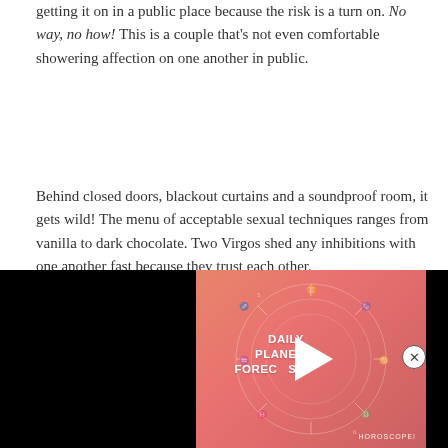getting it on in a public place because the risk is a turn on. No way, no how! This is a couple that's not even comfortable showering affection on one another in public.
Behind closed doors, blackout curtains and a soundproof room, it gets wild! The menu of acceptable sexual techniques ranges from vanilla to dark chocolate. Two Virgos shed any inhibitions with one another fast because they trust each other.
Virgos are erotic, seductive, and passionate. The sex is energetic and can range from sweet to aggressive. One session might involve slow and deliberate foreplay
[Figure (screenshot): Video player thumbnail showing 'Daily Planet Forecast' with a play button, zodiac wheel graphic on a coral/salmon gradient background, with black bars on left and right sides. A close button (X) appears above the video.]